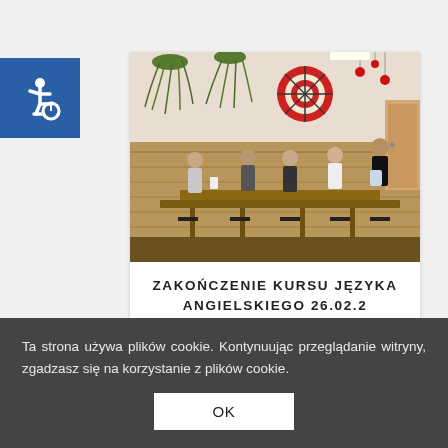[Figure (logo): Blue accessibility wheelchair icon on a blue square background]
[Figure (photo): Interior of a meeting room with people standing around tables; hanging plants, a decorative circular item on the wall, warm wood paneling]
ZAKOŃCZENIE KURSU JĘZYKA ANGIELSKIEGO 26.02.2
Ta strona używa plików cookie. Kontynuując przeglądanie witryny, zgadzasz się na korzystanie z plików cookie.
OK